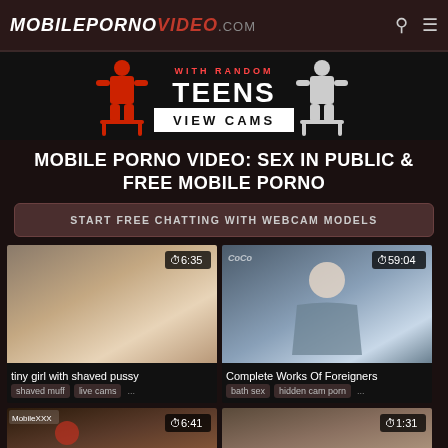MOBILEPORNOVIDEO.com
[Figure (advertisement): Banner ad for webcam site with text 'WITH RANDOM TEENS VIEW CAMS' and red silhouette figures]
MOBILE PORNO VIDEO: SEX IN PUBLIC & FREE MOBILE PORNO
START FREE CHATTING WITH WEBCAM MODELS
[Figure (screenshot): Video thumbnail - tiny girl with shaved pussy, duration 6:35]
[Figure (screenshot): Video thumbnail - Complete Works Of Foreigners, duration 59:04]
[Figure (screenshot): Video thumbnail - duration 6:41, partial view]
[Figure (screenshot): Video thumbnail - duration 1:31, partial view]